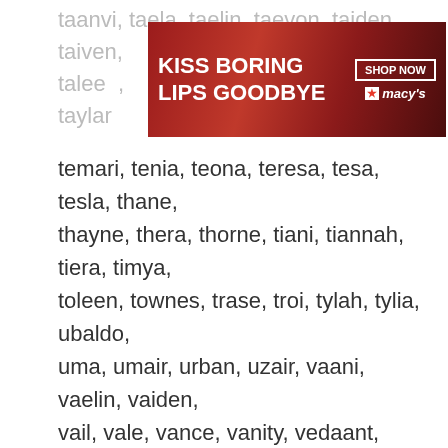taanvi, taela, taelin, taevon, taiden, taiven, talee, taylar
[Figure (screenshot): Macy's advertisement banner: 'KISS BORING LIPS GOODBYE' with SHOP NOW button and Macy's star logo, showing woman with red lips]
temari, tenia, teona, teresa, tesa, tesla, thane, thayne, thera, thorne, tiani, tiannah, tiera, timya, toleen, townes, trase, troi, tylah, tylia, ubaldo, uma, umair, urban, uzair, vaani, vaelin, vaiden, vail, vale, vance, vanity, vedaant, veer, venita, verena, vianna, vidhaan, vihaan, viraaj, viyaan, wade, weston, weylon, wynde, xane, xaylen,
We use cookies on our website to give you the most relevant experience by remembering your preferences and repeat visits. By clicking “Accept”, you consent to the use of ALL the cookies.
Do not sell my personal information.
[Figure (screenshot): Cookie settings buttons: grey 'Cookie Settings' button, green 'Accept' button, grey 'CLOSE' button]
[Figure (screenshot): Creation Museum advertisement: 'Let’s see what’s inside.' with Learn More button on green background]